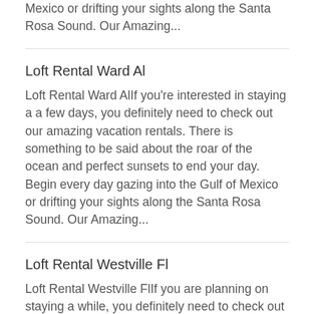Mexico or drifting your sights along the Santa Rosa Sound. Our Amazing...
Loft Rental Ward Al
Loft Rental Ward AlIf you're interested in staying a a few days, you definitely need to check out our amazing vacation rentals. There is something to be said about the roar of the ocean and perfect sunsets to end your day. Begin every day gazing into the Gulf of Mexico or drifting your sights along the Santa Rosa Sound. Our Amazing...
Loft Rental Westville Fl
Loft Rental Westville FlIf you are planning on staying a while, you definitely need to check out our amazing vacation rentals. There is